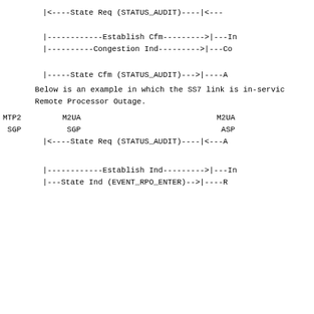[Figure (schematic): Network diagram showing State Req (STATUS_AUDIT) message flow between MTP2 SGP, M2UA SGP, and M2UA ASP nodes]
[Figure (schematic): Network diagram showing Establish Cfm and Congestion Ind message flows]
[Figure (schematic): Network diagram showing State Cfm (STATUS_AUDIT) message flow]
Below is an example in which the SS7 link is in-service and there is a Remote Processor Outage.
[Figure (schematic): Network diagram showing MTP2 SGP, M2UA SGP, M2UA ASP labels with State Req (STATUS_AUDIT) message flow]
[Figure (schematic): Network diagram showing Establish Ind and State Ind (EVENT_RPO_ENTER) message flows]